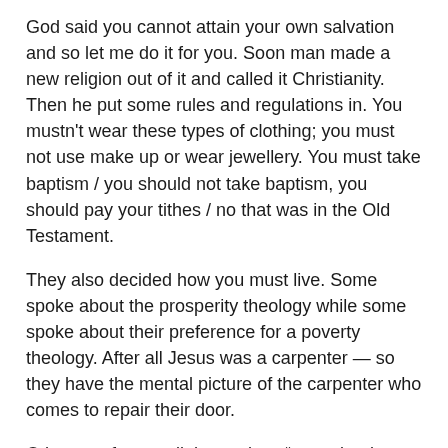God said you cannot attain your own salvation and so let me do it for you. Soon man made a new religion out of it and called it Christianity. Then he put some rules and regulations in. You mustn't wear these types of clothing; you must not use make up or wear jewellery. You must take baptism / you should not take baptism, you should pay your tithes / no that was in the Old Testament.
They also decided how you must live. Some spoke about the prosperity theology while some spoke about their preference for a poverty theology. After all Jesus was a carpenter — so they have the mental picture of the carpenter who comes to repair their door.
Others prefer to call themselves “committed Christians” — the term “born again” is being fundamentalist. They take